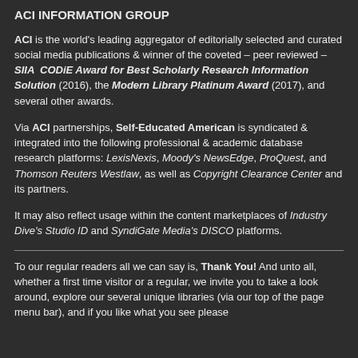ACI INFORMATION GROUP
ACI is the world's leading aggregator of editorially selected and curated social media publications & winner of the coveted – peer reviewed – SIIA CODiE Award for Best Scholarly Research Information Solution (2016), the Modern Library Platinum Award (2017), and several other awards.
Via ACI partnerships, Self-Educated American is syndicated & integrated into the following professional & academic database research platforms: LexisNexis, Moody's NewsEdge, ProQuest, and Thomson Reuters Westlaw, as well as Copyright Clearance Center and its partners.
It may also reflect usage within the content marketplaces of Industry Dive's Studio ID and SyndiGate Media's DISCO platforms.
To our regular readers all we can say is, Thank You! And unto all, whether a first time visitor or a regular, we invite you to take a look around, explore our several unique libraries (via our top of the page menu bar), and if you like what you see please